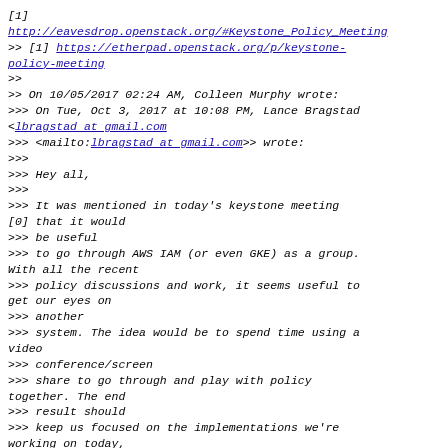[1]
http://eavesdrop.openstack.org/#Keystone_Policy_Meeting
>> [1] https://etherpad.openstack.org/p/keystone-policy-meeting
>>
>> On 10/05/2017 02:24 AM, Colleen Murphy wrote:
>>> On Tue, Oct 3, 2017 at 10:08 PM, Lance Bragstad <lbragstad at gmail.com
>>> <mailto:lbragstad at gmail.com>> wrote:
>>>
>>>      Hey all,
>>>
>>>      It was mentioned in today's keystone meeting [0] that it would
>>>      be useful
>>>      to go through AWS IAM (or even GKE) as a group. With all the recent
>>>      policy discussions and work, it seems useful to get our eyes on
>>>      another
>>>      system. The idea would be to spend time using a video
>>>      conference/screen
>>>      share to go through and play with policy together. The end
>>>      result should
>>>      keep us focused on the implementations we're working on today,
>>>      but also
>>>      provide clarity for the long-term vision of OpenStack's RBAC system.